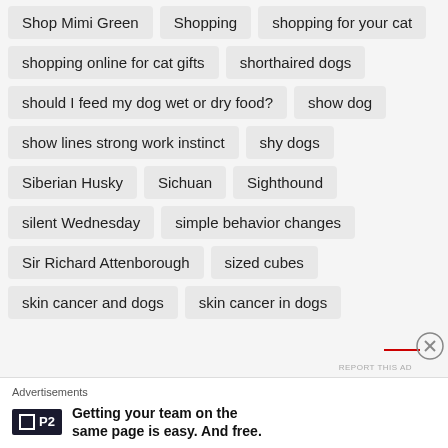Shop Mimi Green
Shopping
shopping for your cat
shopping online for cat gifts
shorthaired dogs
should I feed my dog wet or dry food?
show dog
show lines strong work instinct
shy dogs
Siberian Husky
Sichuan
Sighthound
silent Wednesday
simple behavior changes
Sir Richard Attenborough
sized cubes
skin cancer and dogs
skin cancer in dogs
Advertisements
Getting your team on the same page is easy. And free.